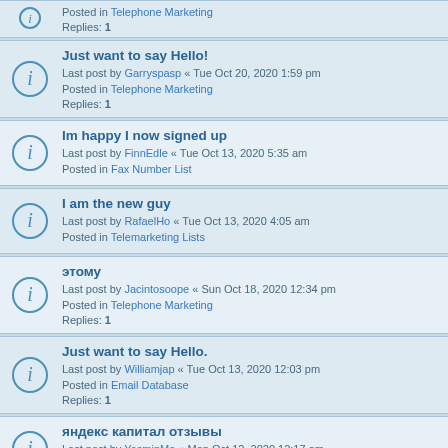Replies: 1 | Posted in Telephone Marketing
Just want to say Hello! | Last post by Garryspasp « Tue Oct 20, 2020 1:59 pm | Posted in Telephone Marketing | Replies: 1
Im happy I now signed up | Last post by FinnEdle « Tue Oct 13, 2020 5:35 am | Posted in Fax Number List
I am the new guy | Last post by RafaelHo « Tue Oct 13, 2020 4:05 am | Posted in Telemarketing Lists
этому | Last post by Jacintosoope « Sun Oct 18, 2020 12:34 pm | Posted in Telephone Marketing | Replies: 1
Just want to say Hello. | Last post by Williamjap « Tue Oct 13, 2020 12:03 pm | Posted in Email Database | Replies: 1
яндекс капитал отзывы | Last post by YasminMa « Mon Oct 12, 2020 12:17 am | Posted in Telemarketing Lists
Im happy I finally signed up | Last post by Robertvet « Wed Oct 14, 2020 9:43 am | Posted in Telemarketing Lists | Replies: 1
I am the new guy | Last post by ...